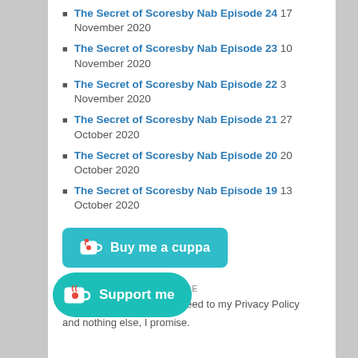The Secret of Scoresby Nab Episode 24 17 November 2020
The Secret of Scoresby Nab Episode 23 10 November 2020
The Secret of Scoresby Nab Episode 22 3 November 2020
The Secret of Scoresby Nab Episode 21 27 October 2020
The Secret of Scoresby Nab Episode 20 20 October 2020
The Secret of Scoresby Nab Episode 19 13 October 2020
[Figure (other): Buy me a cuppa button with coffee cup icon in teal/cyan color]
PLEASE SUBSCRIBE HERE
You have read and agreed to my Privacy Policy
and nothing else, I promise.
[Figure (other): Support me button with coffee cup icon in teal/cyan color]